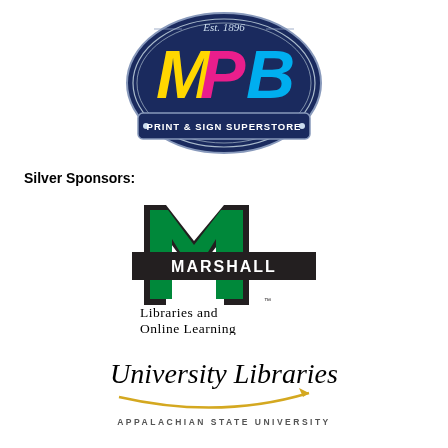[Figure (logo): MPB Print & Sign Superstore logo — dark navy oval with Est. 1896 text at top, large colorful MPB letters (yellow M, pink P, blue B), and a banner reading PRINT & SIGN SUPERSTORE]
Silver Sponsors:
[Figure (logo): Marshall University Libraries and Online Learning logo — large green block letter M with black border and MARSHALL text band across the middle, with text below reading Libraries and Online Learning]
[Figure (logo): Appalachian State University Libraries logo — University Libraries in italic serif font with a gold swoosh underline and arrow, APPALACHIAN STATE UNIVERSITY in small caps below]